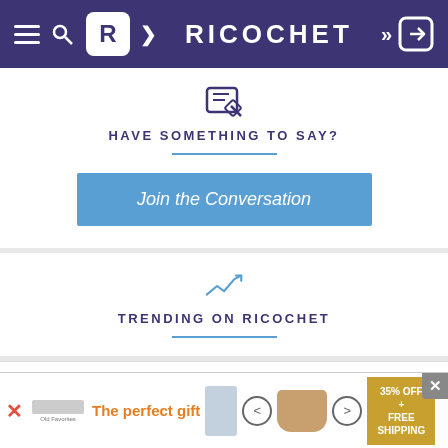RICOCHET
HAVE SOMETHING TO SAY?
Join the Conversation
TRENDING ON RICOCHET
Main Feed | Member Feed | Podcasts
[Figure (screenshot): Advertisement banner: The perfect gift, 35% OFF + FREE SHIPPING]